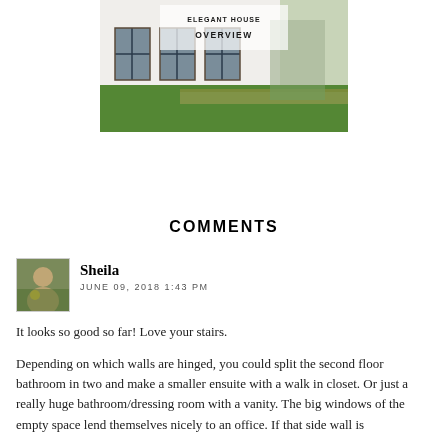[Figure (illustration): Rendering of a modern elegant house exterior with large glass windows, wood deck, and green lawn. Text overlay reads 'ELEGANT HOUSE OVERVIEW'.]
COMMENTS
Sheila
JUNE 09, 2018 1:43 PM
It looks so good so far! Love your stairs.
Depending on which walls are hinged, you could split the second floor bathroom in two and make a smaller ensuite with a walk in closet. Or just a really huge bathroom/dressing room with a vanity. The big windows of the empty space lend themselves nicely to an office. If that side wall is